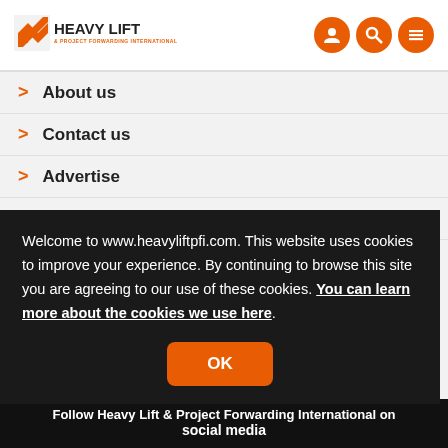[Figure (logo): Heavy Lift & Project Forwarding International logo with orange arrow icon and three orange circular nav icons (user, search, menu)]
About us
Contact us
Advertise
Register
Welcome to www.heavyliftpfi.com. This website uses cookies to improve your experience. By continuing to browse this site you are agreeing to our use of these cookies. You can learn more about the cookies we use here.
Follow Heavy Lift & Project Forwarding International on social media